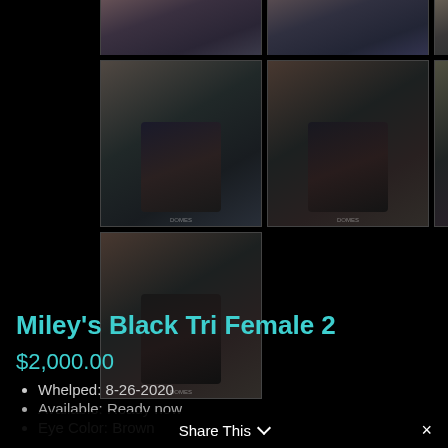[Figure (photo): Row of 4 dog/animal photo thumbnails (top row, partially visible)]
[Figure (photo): Row of 4 dog photo thumbnails (middle row) showing black tri Australian Shepherd]
[Figure (photo): Single dog photo thumbnail (bottom row) showing black tri Australian Shepherd]
Miley’s Black Tri Female 2
$2,000.00
Whelped: 8-26-2020
Available: Ready now
Eye Color: Brown
Share This ∨ ×